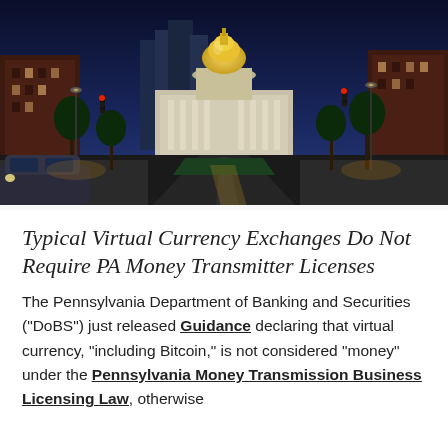[Figure (photo): Nighttime photograph of Harrisburg, Pennsylvania showing the Pennsylvania State Capitol building with its gold dome lit up, viewed down a city street with traffic lights and surrounding buildings.]
Typical Virtual Currency Exchanges Do Not Require PA Money Transmitter Licenses
The Pennsylvania Department of Banking and Securities (“DoBS”) just released Guidance declaring that virtual currency, “including Bitcoin,” is not considered “money” under the Pennsylvania Money Transmission Business Licensing Law, otherwise